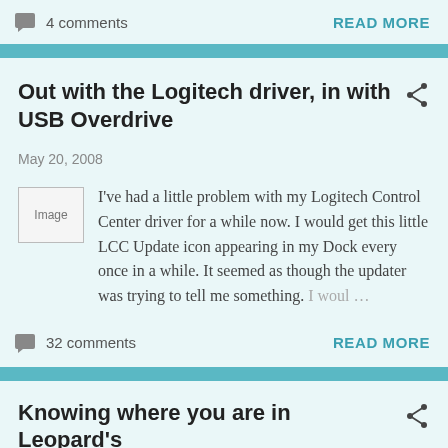4 comments
READ MORE
Out with the Logitech driver, in with USB Overdrive
May 20, 2008
[Figure (photo): Broken image placeholder]
I've had a little problem with my Logitech Control Center driver for a while now. I would get this little LCC Update icon appearing in my Dock every once in a while. It seemed as though the updater was trying to tell me something. I woul …
32 comments
READ MORE
Knowing where you are in Leopard's